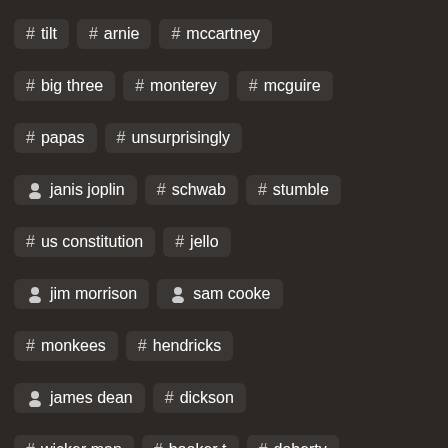# tilt
# arnie
# mccartney
# big three
# monterey
# mcguire
# papas
# unsurprisingly
person janis joplin
# schwab
# stumble
# us constitution
# jello
person jim morrison
person sam cooke
# monkees
# hendricks
person james dean
# dickson
# wicker man
# booker t
# doherty